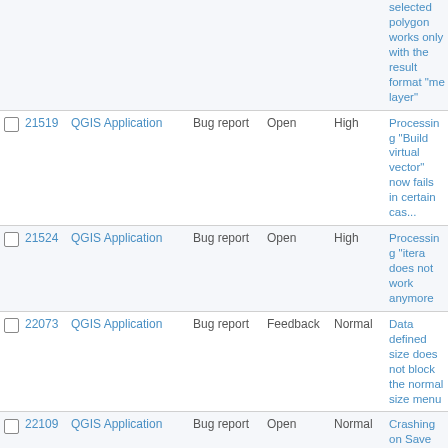|  | # | Project | Type | Status | Priority | Summary |
| --- | --- | --- | --- | --- | --- | --- |
|  |  |  |  |  |  | selected polygon works only with the result format "me layer" |
| ☐ | 21519 | QGIS Application | Bug report | Open | High | Processing "Build virtual vector" now fails in certain cases |
| ☐ | 21524 | QGIS Application | Bug report | Open | High | Processing "itera does not work anymore |
| ☐ | 22073 | QGIS Application | Bug report | Feedback | Normal | Data defined size does not block the normal size menu |
| ☐ | 22109 | QGIS Application | Bug report | Open | Normal | Crashing on Save and Exit |
| ☐ | 22106 | QGIS Application | Bug report | Open | Normal | Browser - "Project home" folder sho does not appear when a new proje saved |
| ☐ | 22100 | QGIS Application | Bug report | Feedback | High | Crash when addi New Field to ShapeLayer |
| ☐ | 21096 | QGIS Application | Bug report | Open | High | Move selection to doesn't worked w table is unsaved |
| ☐ | 22084 | QGIS Application | Bug report | Feedback | Normal | Tool Icons disapp from menu |
| ☐ | 22098 | QGIS Application | Bug report | Open | Normal | Source window G point not showing |
| ☐ | 22079 | QGIS Application | Bug report | Feedback | Normal | Weekly snapshot issue |